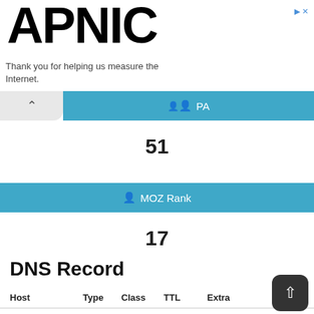[Figure (logo): APNIC logo in large bold black text]
Thank you for helping us measure the Internet.
PA
51
MOZ Rank
17
DNS Record
| Host | Type | Class | TTL | Extra |
| --- | --- | --- | --- | --- |
| warez-bb.org | A | IN | 3600 | Ip: 103.224.182... |
| warez-bb.org | NS | IN | 21600 | Target: ns1.above.com |